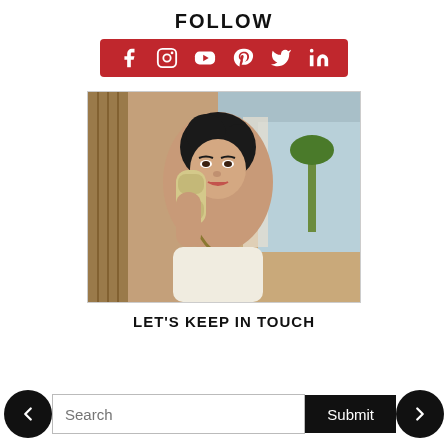FOLLOW
[Figure (infographic): Red social media bar with icons: Facebook, Instagram, YouTube, Pinterest, Twitter, LinkedIn]
[Figure (photo): Vintage photo of a dark-haired woman holding a telephone receiver, tropical/resort background]
LET'S KEEP IN TOUCH